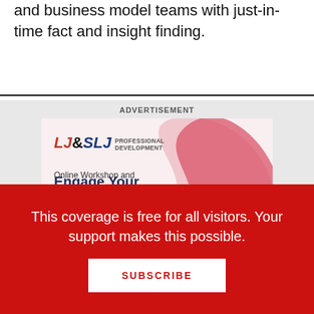and business model teams with just-in-time fact and insight finding.
[Figure (infographic): Advertisement banner for LJ&SLJ Professional Development: 'Engage Your Community by Uniting Marketing and Outreach' — Online Workshop and...]
ADVERTISEMENT
This coverage is free for all visitors. Your support makes this possible.
SUBSCRIBE